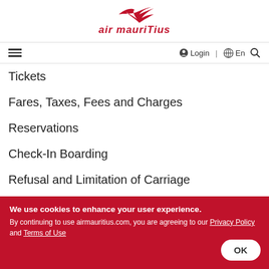[Figure (logo): Air Mauritius logo with red bird and red italic text 'air mauriTius']
≡  Login  🌐 | En  🔍
Tickets
Fares, Taxes, Fees and Charges
Reservations
Check-In Boarding
Refusal and Limitation of Carriage
Baggage
Schedules, Delays, Cancellation of Flights
Refunds
We use cookies to enhance your user experience. By continuing to use airmauritius.com, you are agreeing to our Privacy Policy and Terms of Use